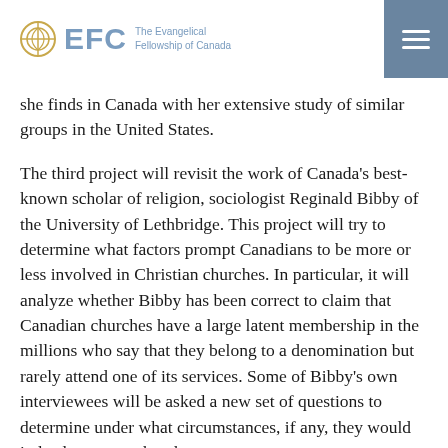EFC The Evangelical Fellowship of Canada
she finds in Canada with her extensive study of similar groups in the United States.
The third project will revisit the work of Canada's best-known scholar of religion, sociologist Reginald Bibby of the University of Lethbridge. This project will try to determine what factors prompt Canadians to be more or less involved in Christian churches. In particular, it will analyze whether Bibby has been correct to claim that Canadian churches have a large latent membership in the millions who say that they belong to a denomination but rarely attend one of its services. Some of Bibby's own interviewees will be asked a new set of questions to determine under what circumstances, if any, they would indeed return to church.
Sociologist Joel Thiessen, currently completing his Ph.D.